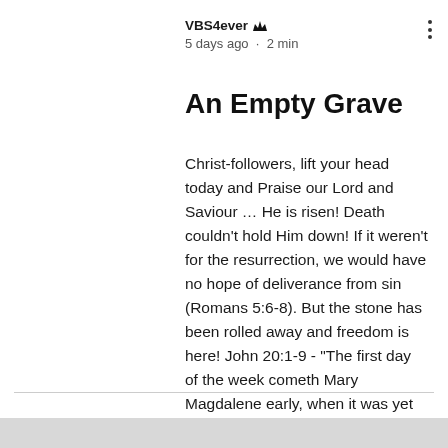VBS4ever  5 days ago · 2 min
An Empty Grave
Christ-followers, lift your head today and Praise our Lord and Saviour … He is risen! Death couldn't hold Him down! If it weren't for the resurrection, we would have no hope of deliverance from sin (Romans 5:6-8). But the stone has been rolled away and freedom is here! John 20:1-9 - "The first day of the week cometh Mary Magdalene early, when it was yet dark, unto the sepulchre, and seeth the stone taken away from the sepulchre. 2 Then she runneth, and cometh to Simon Peter,